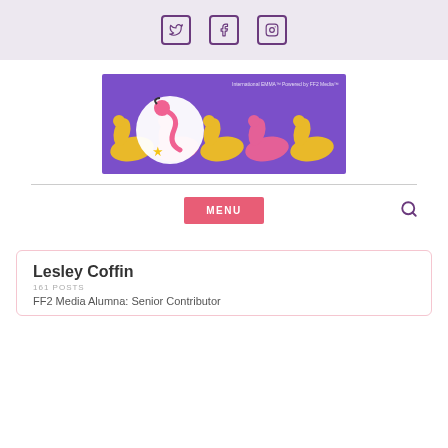Social media icons: Twitter, Facebook, Instagram
[Figure (logo): Website banner/logo with flamingo/swan motif on purple background with pink and yellow repeating swan pattern]
[Figure (other): MENU button navigation bar with search icon]
Lesley Coffin
161 POSTS
FF2 Media Alumna: Senior Contributor